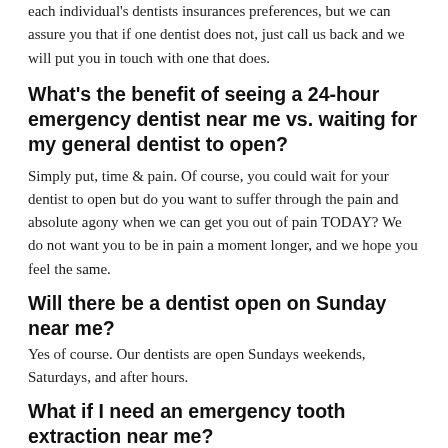each individual's dentists insurances preferences, but we can assure you that if one dentist does not, just call us back and we will put you in touch with one that does.
What's the benefit of seeing a 24-hour emergency dentist near me vs. waiting for my general dentist to open?
Simply put, time & pain. Of course, you could wait for your dentist to open but do you want to suffer through the pain and absolute agony when we can get you out of pain TODAY? We do not want you to be in pain a moment longer, and we hope you feel the same.
Will there be a dentist open on Sunday near me?
Yes of course. Our dentists are open Sundays weekends, Saturdays, and after hours.
What if I need an emergency tooth extraction near me?
Call right away. If you need to have teeth extracted it's important you do NOT wait. Get in touch with us right now.
We hope that you have a helpful in your experience of the